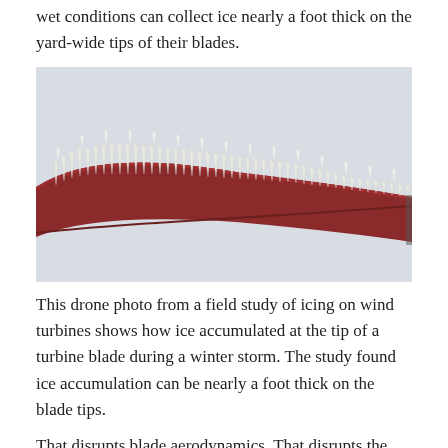wet conditions can collect ice nearly a foot thick on the yard-wide tips of their blades.
[Figure (photo): Drone photo showing ice accumulated along the leading edge of a red wind turbine blade tip against a grey-white sky. Heavy rime ice formations protrude upward along the entire top edge of the blade tip.]
This drone photo from a field study of icing on wind turbines shows how ice accumulated at the tip of a turbine blade during a winter storm. The study found ice accumulation can be nearly a foot thick on the blade tips.
That disrupts blade aerodynamics. That disrupts the